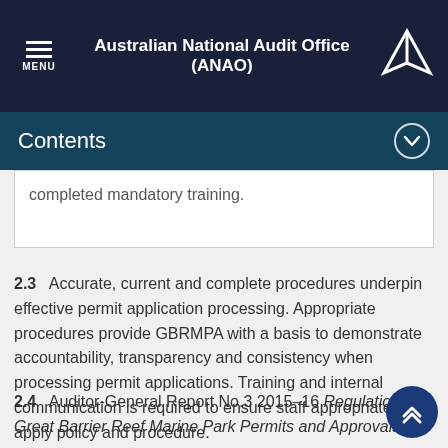Australian National Audit Office (ANAO)
Contents
completed mandatory training.
2.3 Accurate, current and complete procedures underpin effective permit application processing. Appropriate procedures provide GBRMPA with a basis to demonstrate accountability, transparency and consistency when processing permit applications. Training and internal communication is required to ensure staff appropriately apply policy and procedure.
2.4 Auditor-General Report No.3 2015–16 Regulation of Great Barrier Reef Marine Park Permits and Approvals made findings relating to GBRMPA's procedural documentation and processing of permit applications. Identified issues included: frequent updating and other issues associated for staff